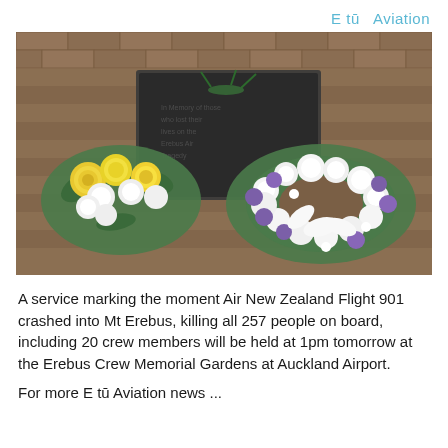E tū   Aviation
[Figure (photo): Memorial flowers laid on a brick paved surface next to a dark memorial plaque. Left bouquet has yellow and white roses; right is a large white and purple floral wreath.]
A service marking the moment Air New Zealand Flight 901 crashed into Mt Erebus, killing all 257 people on board, including 20 crew members will be held at 1pm tomorrow at the Erebus Crew Memorial Gardens at Auckland Airport.
For more E tū Aviation news ...